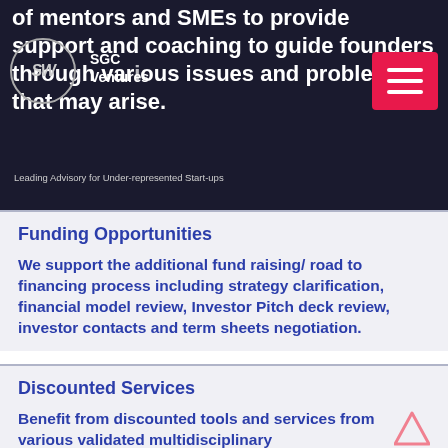of mentors and SMEs to provide support and coaching to guide founders through various issues and problems that may arise.
[Figure (logo): SGC Ventures logo — circle with SV initials and company name]
Leading Advisory for Under-represented Start-ups
Funding Opportunities
We support the additional fund raising/ road to financing process including strategy clarification, financial model review, Investor Pitch deck review, investor contacts and term sheets negotiation.
Discounted Services
Benefit from discounted tools and services from various validated multidisciplinary